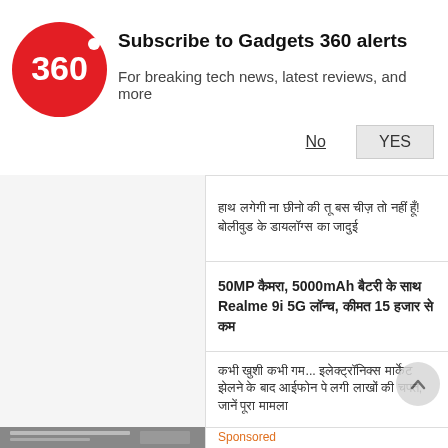[Figure (logo): Gadgets 360 red circle logo with '360' text in white]
Subscribe to Gadgets 360 alerts
For breaking tech news, latest reviews, and more
No
YES
हाथ लगेगी ना छीनो की तू बस चीज़ तो नहीं हूँ! बोलीवुड के डायलॉग्स का जादुई
50MP कैमरा, 5000mAh बैटरी के साथ Realme 9i 5G लॉन्च, कीमत 15 हजार से कम
कभी खुशी कभी गम... इलेक्ट्रॉनिक्स मार्केट झेलने के बाद आईफोन पे लगी लाखों की चपत, जानें पूरा मामला
Sponsored
All Adults Over 50 Are Due a Large Benefit This Month (Check If You Qualify)